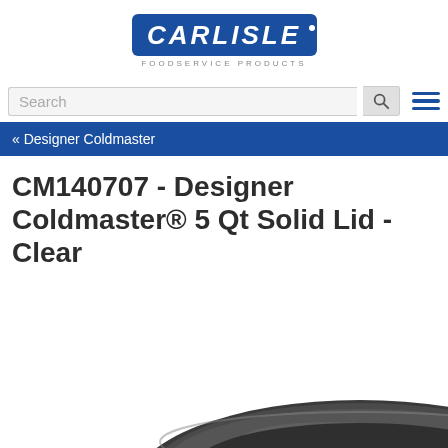[Figure (logo): Carlisle Foodservice Products logo — blue text with italic wordmark and tagline]
Search
« Designer Coldmaster
CM140707 - Designer Coldmaster® 5 Qt Solid Lid - Clear
[Figure (photo): Partial photo of a dark gray/charcoal Designer Coldmaster 5 Qt solid lid, showing the curved top portion of the lid at the bottom of the page]